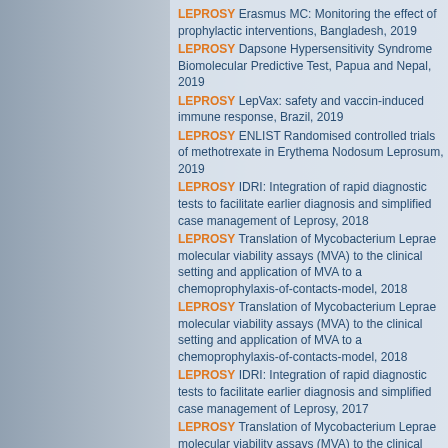LEPROSY Erasmus MC: Monitoring the effect of prophylactic interventions, Bangladesh, 2019
LEPROSY Dapsone Hypersensitivity Syndrome Biomolecular Predictive Test, Papua and Nepal, 2019
LEPROSY LepVax: safety and vaccin-induced immune response, Brazil, 2019
LEPROSY ENLIST Randomised controlled trials of methotrexate in Erythema Nodosum Leprosum, 2019
LEPROSY IDRI: Integration of rapid diagnostic tests to facilitate earlier diagnosis and simplified case management of Leprosy, 2018
LEPROSY Translation of Mycobacterium Leprae molecular viability assays (MVA) to the clinical setting and application of MVA to a chemoprophylaxis-of-contacts-model, 2018
LEPROSY Translation of Mycobacterium Leprae molecular viability assays (MVA) to the clinical setting and application of MVA to a chemoprophylaxis-of-contacts-model, 2018
LEPROSY IDRI: Integration of rapid diagnostic tests to facilitate earlier diagnosis and simplified case management of Leprosy, 2017
LEPROSY Translation of Mycobacterium Leprae molecular viability assays (MVA) to the clinical setting